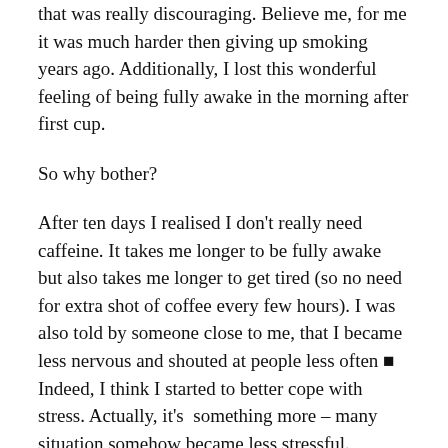that was really discouraging. Believe me, for me it was much harder then giving up smoking years ago. Additionally, I lost this wonderful feeling of being fully awake in the morning after first cup.
So why bother?
After ten days I realised I don't really need caffeine. It takes me longer to be fully awake but also takes me longer to get tired (so no need for extra shot of coffee every few hours). I was also told by someone close to me, that I became less nervous and shouted at people less often ■ Indeed, I think I started to better cope with stress. Actually, it's  something more – many situation somehow became less stressful.
Addictions are good. They make us strong and powerful when we give them up. That's the only real benefit they